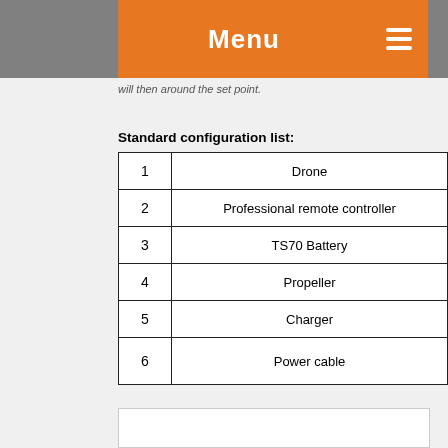Menu
will then around the set point.
Standard configuration list:
|  |  |
| --- | --- |
| 1 | Drone |
| 2 | Professional remote controller |
| 3 | TS70 Battery |
| 4 | Propeller |
| 5 | Charger |
| 6 | Power cable |